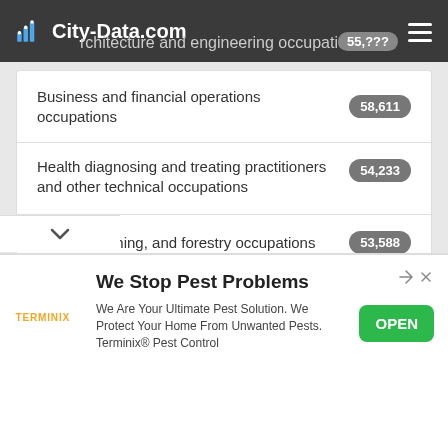City-Data.com — Architecture and engineering occupations 55,???
Business and financial operations occupations
Health diagnosing and treating practitioners and other technical occupations
Farming, fishing, and forestry occupations
Management occupations
Education, training, and library occupations
[Figure (other): Terminix advertisement: 'We Stop Pest Problems' with OPEN button]